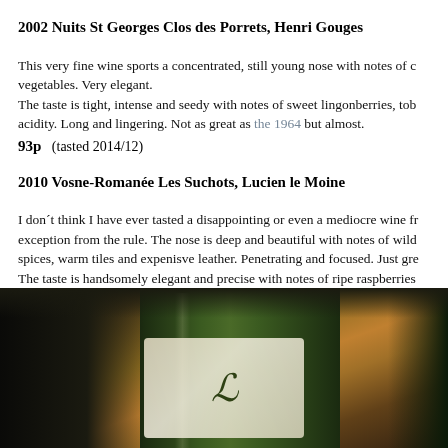2002 Nuits St Georges Clos des Porrets, Henri Gouges
This very fine wine sports a concentrated, still young nose with notes of c… vegetables. Very elegant. The taste is tight, intense and seedy with notes of sweet lingonberries, tob… acidity. Long and lingering. Not as great as the 1964 but almost. 93p (tasted 2014/12)
2010 Vosne-Romanée Les Suchots, Lucien le Moine
I don´t think I have ever tasted a disappointing or even a mediocre wine fr… exception from the rule. The nose is deep and beautiful with notes of wild spices, warm tiles and expenisve leather. Penetrating and focused. Just gre… The taste is handsomely elegant and precise with notes of ripe raspberries notes. The finish is long and refined. This is as good as it gets, and with ag… 96p (tasted 2014/12)
[Figure (photo): Close-up photo of a dark green wine bottle with a label showing a cursive letter, dimly lit with warm tones]